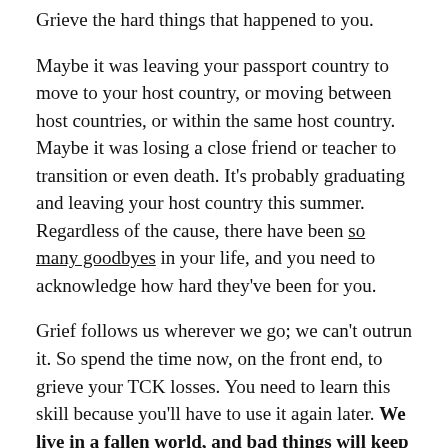Grieve the hard things that happened to you.
Maybe it was leaving your passport country to move to your host country, or moving between host countries, or within the same host country. Maybe it was losing a close friend or teacher to transition or even death. It's probably graduating and leaving your host country this summer. Regardless of the cause, there have been so many goodbyes in your life, and you need to acknowledge how hard they've been for you.
Grief follows us wherever we go; we can't outrun it. So spend the time now, on the front end, to grieve your TCK losses. You need to learn this skill because you'll have to use it again later. We live in a fallen world, and bad things will keep happening to you, whether you're living cross-culturally or not. That means the need to process grief is ever-present,